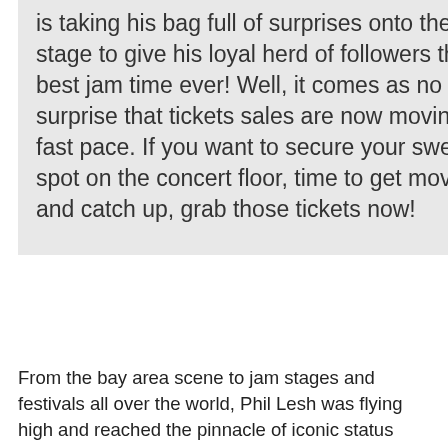Grateful Dead bassist is taking his bag full of surprises onto the live stage to give his loyal herd of followers the best jam time ever! Well, it comes as no surprise that tickets sales are now moving at a fast pace. If you want to secure your sweet spot on the concert floor, time to get movin' and catch up, grab those tickets now!
From the bay area scene to jam stages and festivals all over the world, Phil Lesh was flying high and reached the pinnacle of iconic status with the band The Grateful Dead. Even after